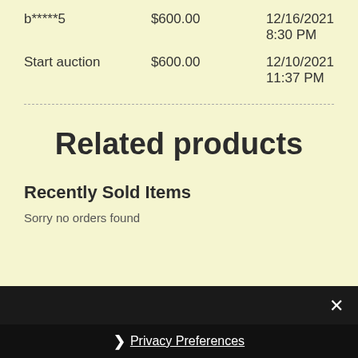| Bidder | Amount | Date/Time |
| --- | --- | --- |
| b*****5 | $600.00 | 12/16/2021 8:30 PM |
| Start auction | $600.00 | 12/10/2021 11:37 PM |
Related products
Recently Sold Items
Sorry no orders found
Privacy Preferences